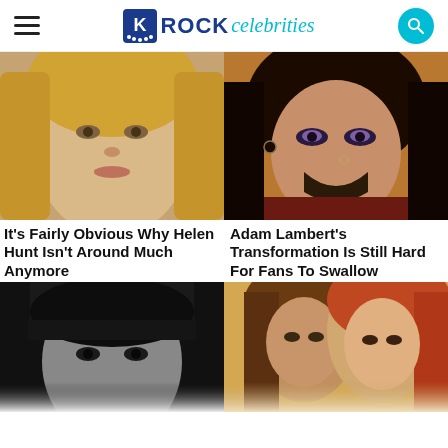ROCK celebrities
[Figure (photo): Close-up photo of Helen Hunt, blonde woman smiling]
[Figure (photo): Close-up photo of Adam Lambert with makeup and earrings]
It's Fairly Obvious Why Helen Hunt Isn't Around Much Anymore
Adam Lambert's Transformation Is Still Hard For Fans To Swallow
[Figure (photo): Black and white photo of a woman with dark bangs]
[Figure (photo): Color photo of two people, man with long hair and woman with red hair]